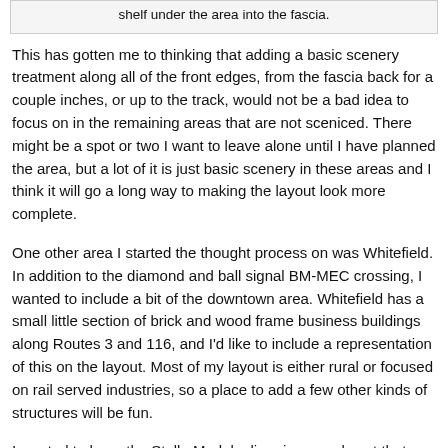shelf under the area into the fascia.
This has gotten me to thinking that adding a basic scenery treatment along all of the front edges, from the fascia back for a couple inches, or up to the track, would not be a bad idea to focus on in the remaining areas that are not sceniced. There might be a spot or two I want to leave alone until I have planned the area, but a lot of it is just basic scenery in these areas and I think it will go a long way to making the layout look more complete.
One other area I started the thought process on was Whitefield. In addition to the diamond and ball signal BM-MEC crossing, I wanted to include a bit of the downtown area. Whitefield has a small little section of brick and wood frame business buildings along Routes 3 and 116, and I'd like to include a representation of this on the layout. Most of my layout is either rural or focused on rail served industries, so a place to add a few other kinds of structures will be fun.
I wanted to have the Stella Models diner in a good spot that can be easily viewed, so starting with that, I worked on a scene that goes slightly uphill representing Rt. 116. Again